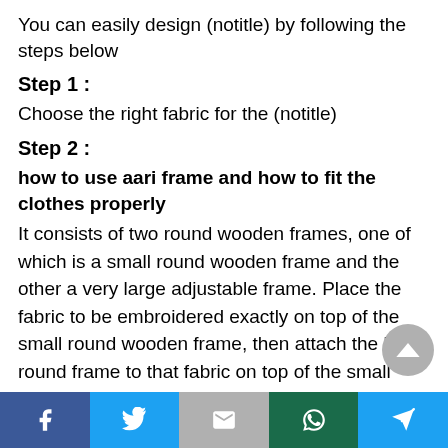You can easily design (notitle) by following the steps below
Step 1 :
Choose the right fabric for the (notitle)
Step 2 :
how to use aari frame and how to fit the clothes properly
It consists of two round wooden frames, one of which is a small round wooden frame and the other a very large adjustable frame. Place the fabric to be embroidered exactly on top of the small round wooden frame, then attach the large round frame to that fabric on top of the small fabric. The adjustment of that large frame should be locked in
Social share buttons: Facebook, Twitter, Gmail, WhatsApp, Share